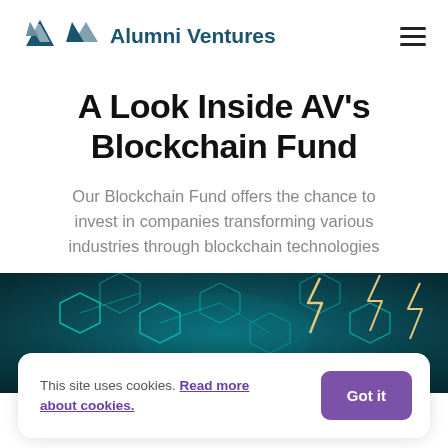Alumni Ventures
A Look Inside AV's Blockchain Fund
Our Blockchain Fund offers the chance to invest in companies transforming various industries through blockchain technologies
[Figure (photo): Dark teal/cyan background with glowing hexagonal blockchain network nodes and geometric shapes with neon cyan and gold/yellow lightning bolt lines suggesting a blockchain technology visualization]
This site uses cookies. Read more about cookies.
Got it